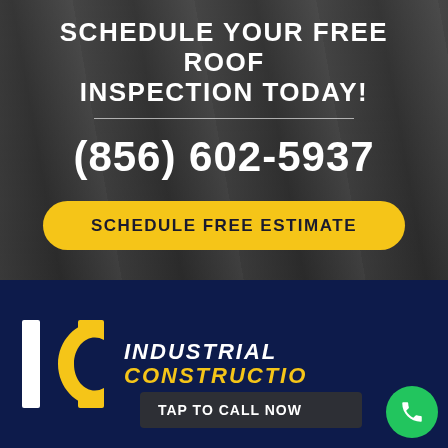SCHEDULE YOUR FREE ROOF INSPECTION TODAY!
(856) 602-5937
SCHEDULE FREE ESTIMATE
[Figure (logo): IC Industrial Construction company logo with white I, yellow C arc shape, and text 'INDUSTRIAL CONSTRUCTION' in white and yellow on dark navy background]
TAP TO CALL NOW